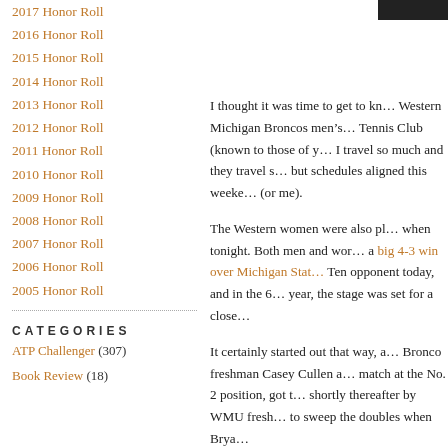2017 Honor Roll
2016 Honor Roll
2015 Honor Roll
2014 Honor Roll
2013 Honor Roll
2012 Honor Roll
2011 Honor Roll
2010 Honor Roll
2009 Honor Roll
2008 Honor Roll
2007 Honor Roll
2006 Honor Roll
2005 Honor Roll
CATEGORIES
ATP Challenger (307)
Book Review (18)
I thought it was time to get to kn… Western Michigan Broncos men’s… Tennis Club (known to those of y… I travel so much and they travel s… but schedules aligned this weeke… (or me).
The Western women were also pl… when tonight. Both men and wor… a big 4-3 win over Michigan Stat… Ten opponent today, and in the 6… year, the stage was set for a close…
It certainly started out that way, a… Bronco freshman Casey Cullen a… match at the No. 2 position, got t… shortly thereafter by WMU fresh… to sweep the doubles when Brya…